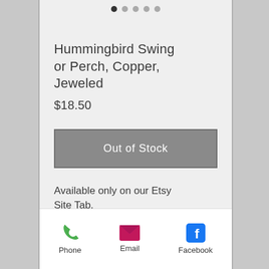[Figure (screenshot): Carousel pagination dots — one filled dark, four lighter grey dots indicating image gallery position]
Hummingbird Swing or Perch, Copper, Jeweled
$18.50
Out of Stock
Available only on our Etsy Site Tab.
Phone   Email   Facebook